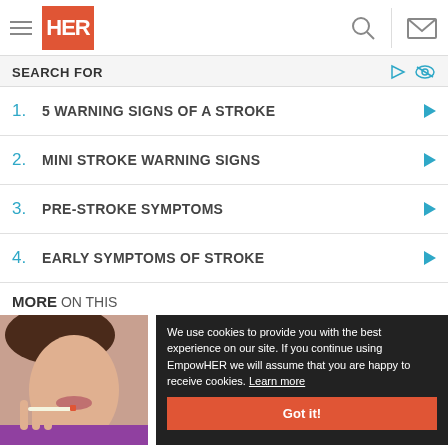HER (EmpowHER) navigation header with logo, search and mail icons
SEARCH FOR
1. 5 WARNING SIGNS OF A STROKE
2. MINI STROKE WARNING SIGNS
3. PRE-STROKE SYMPTOMS
4. EARLY SYMPTOMS OF STROKE
MORE ON THIS
[Figure (photo): Woman holding a cigarette, partial face visible]
We use cookies to provide you with the best experience on our site. If you continue using EmpowHER we will assume that you are happy to receive cookies. Learn more. Got it!